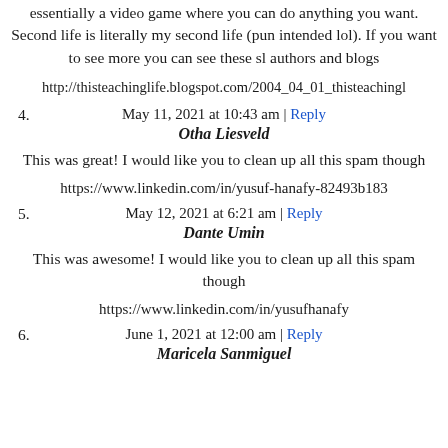essentially a video game where you can do anything you want. Second life is literally my second life (pun intended lol). If you want to see more you can see these sl authors and blogs
http://thisteachinglife.blogspot.com/2004_04_01_thisteachingl
May 11, 2021 at 10:43 am | Reply
4. Otha Liesveld
This was great! I would like you to clean up all this spam though
https://www.linkedin.com/in/yusuf-hanafy-82493b183
May 12, 2021 at 6:21 am | Reply
5. Dante Umin
This was awesome! I would like you to clean up all this spam though
https://www.linkedin.com/in/yusufhanafy
June 1, 2021 at 12:00 am | Reply
6. Maricela Sanmiguel